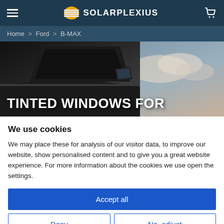SOLARPLEXIUS
Home > Ford > B-MAX
[Figure (photo): Dark car window/mirror against cloudy sky background with text overlay 'TINTED WINDOWS FOR']
We use cookies
We may place these for analysis of our visitor data, to improve our website, show personalised content and to give you a great website experience. For more information about the cookies we use open the settings.
Accept all
Deny
No, adjust